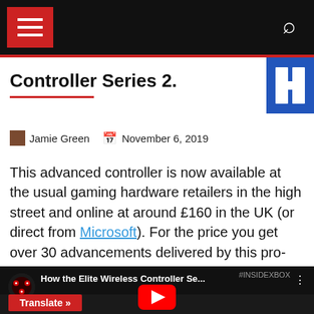Navigation bar with hamburger menu and search icon
Controller Series 2.
Jamie Green   November 6, 2019
This advanced controller is now available at the usual gaming hardware retailers in the high street and online at around £160 in the UK (or direct from Microsoft). For the price you get over 30 advancements delivered by this pro-gaming PC-friendly hardware sequel.
[Figure (screenshot): YouTube video thumbnail showing 'How the Elite Wireless Controller Se...' with #INSIDEXBOX tag, channel icon, play button, and Translate button overlay]